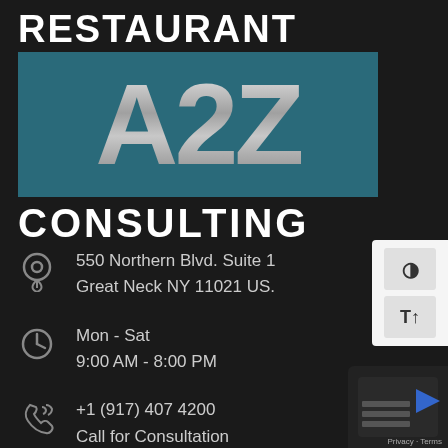[Figure (logo): Restaurant A2Z Consulting logo with large white text on dark background and teal banner with metallic A2Z lettering]
550 Northern Blvd. Suite 1
Great Neck NY 11021 US.
Mon - Sat
9:00 AM - 8:00 PM
+1 (917) 407 4200
Call for Consultation